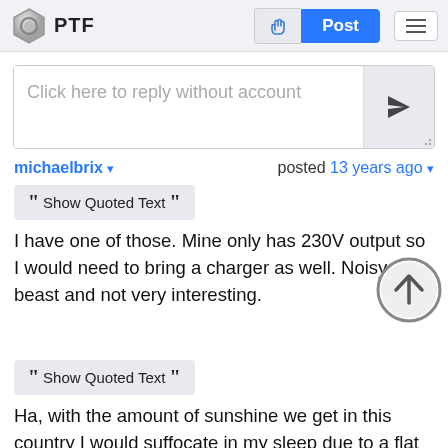PTF | Post
Click here to reply without account
michaelbrix ▾   posted 13 years ago ▾
❝ Show Quoted Text ❞
I have one of those. Mine only has 230V output so I would need to bring a charger as well. Noisy beast and not very interesting.
❝ Show Quoted Text ❞
Ha, with the amount of sunshine we get in this country I would suffocate in my sleep due to a flat battery. I do have a 12VA … but the converter not the …